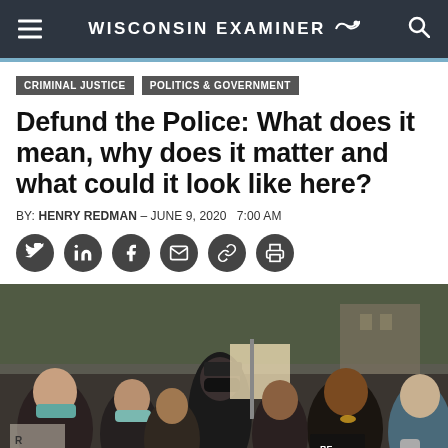WISCONSIN EXAMINER
CRIMINAL JUSTICE
POLITICS & GOVERNMENT
Defund the Police: What does it mean, why does it matter and what could it look like here?
BY: HENRY REDMAN – JUNE 9, 2020  7:00 AM
[Figure (photo): Crowd of protesters at a demonstration, many wearing face masks, some holding signs. A man in a black cap and face mask stands prominently in the center.]